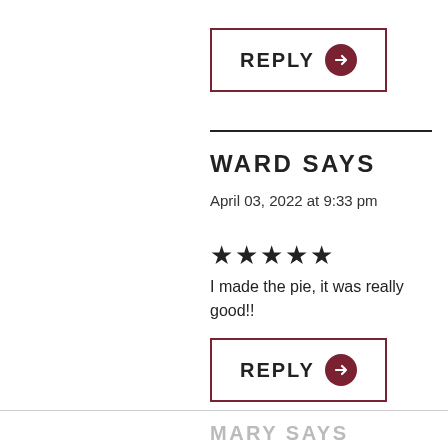[Figure (other): REPLY button with dark red border and dark red circle arrow icon]
WARD SAYS
April 03, 2022 at 9:33 pm
★★★★★
I made the pie, it was really good!!
[Figure (other): REPLY button with dark red border and dark red circle arrow icon]
MARY SAYS